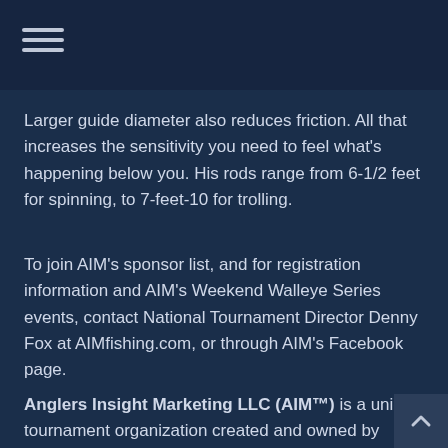Larger guide diameter also reduces friction. All that increases the sensitivity you need to feel what's happening below you. His rods range from 6-1/2 feet for spinning, to 7-feet-10 for trolling.
To join AIM's sponsor list, and for registration information and AIM's Weekend Walleye Series events, contact National Tournament Director Denny Fox at AIMfishing.com, or through AIM's Facebook page.
Anglers Insight Marketing LLC (AIM™) is a unique tournament organization created and owned by many of the most accomplished and recognizable